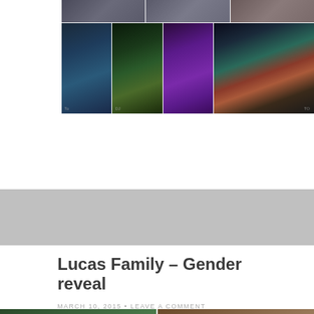[Figure (photo): Fashion show photo grid: top row of three photos showing runway/backstage scenes, second row of four photos showing models and performers on stage with colorful lighting]
Lucas Family – Gender reveal
MARCH 10, 2015 • LEAVE A COMMENT
[Figure (photo): Bottom partial row of photos showing additional event images]